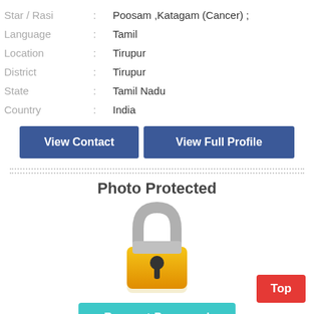| Star / Rasi | : | Poosam ,Katagam (Cancer) ; |
| Language | : | Tamil |
| Location | : | Tirupur |
| District | : | Tirupur |
| State | : | Tamil Nadu |
| Country | : | India |
View Contact
View Full Profile
Photo Protected
[Figure (illustration): A padlock icon with grey shackle and gold body with keyhole, indicating photo protection.]
Request Password
Top
Please login / register to view